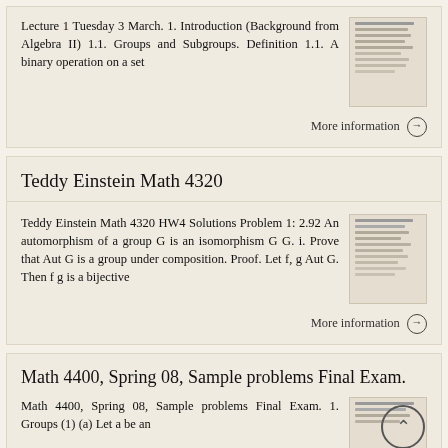Lecture 1 Tuesday 3 March. 1. Introduction (Background from Algebra II) 1.1. Groups and Subgroups. Definition 1.1. A binary operation on a set
More information →
Teddy Einstein Math 4320
Teddy Einstein Math 4320 HW4 Solutions Problem 1: 2.92 An automorphism of a group G is an isomorphism G G. i. Prove that Aut G is a group under composition. Proof. Let f, g Aut G. Then f g is a bijective
More information →
Math 4400, Spring 08, Sample problems Final Exam.
Math 4400, Spring 08, Sample problems Final Exam. 1. Groups (1) (a) Let a be an